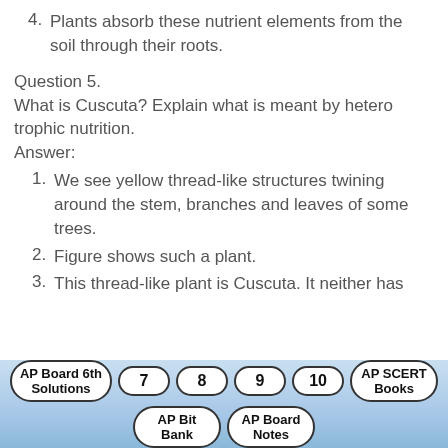4. Plants absorb these nutrient elements from the soil through their roots.
Question 5.
What is Cuscuta? Explain what is meant by heterotrophic nutrition.
Answer:
1. We see yellow thread-like structures twining around the stem, branches and leaves of some trees.
2. Figure shows such a plant.
3. This thread-like plant is Cuscuta. It neither has
AP Board 6th Solutions  7  8  9  10  AP SCERT Books  AP Bit Bank  AP Board Notes